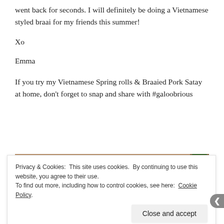went back for seconds. I will definitely be doing a Vietnamese styled braai for my friends this summer!
Xo
Emma
If you try my Vietnamese Spring rolls & Braaied Pork Satay at home, don't forget to snap and share with #galoobrious
[Figure (photo): Photo of Vietnamese spring rolls and a plate of salad/noodle dish with herbs and red peppers on a table]
Privacy & Cookies: This site uses cookies. By continuing to use this website, you agree to their use.
To find out more, including how to control cookies, see here: Cookie Policy
Close and accept